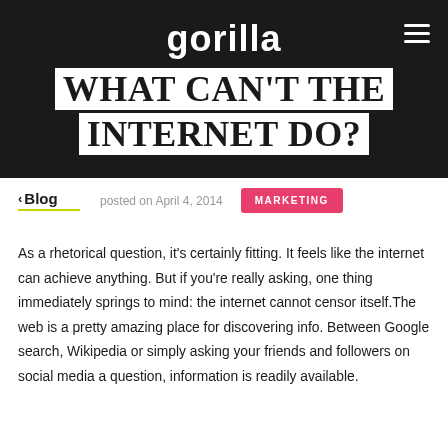gorilla
WHAT CAN'T THE INTERNET DO?
‹ Blog   posted on April 4, 2014   MARKETING
As a rhetorical question, it's certainly fitting. It feels like the internet can achieve anything. But if you're really asking, one thing immediately springs to mind: the internet cannot censor itself.The web is a pretty amazing place for discovering info. Between Google search, Wikipedia or simply asking your friends and followers on social media a question, information is readily available.